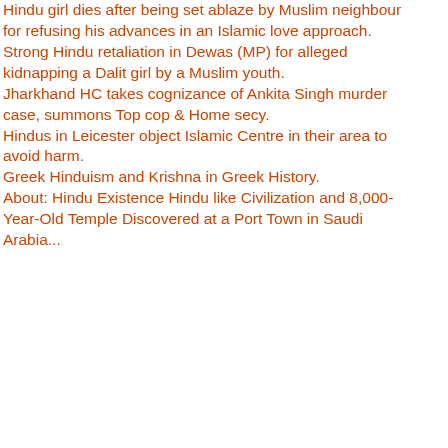Hindu girl dies after being set ablaze by Muslim neighbour for refusing his advances in an Islamic love approach. Strong Hindu retaliation in Dewas (MP) for alleged kidnapping a Dalit girl by a Muslim youth. Jharkhand HC takes cognizance of Ankita Singh murder case, summons Top cop & Home secy. Hindus in Leicester object Islamic Centre in their area to avoid harm. Greek Hinduism and Krishna in Greek History. About: Hindu Existence Hindu like Civilization and 8,000-Year-Old Temple Discovered at a Port Town in Saudi Arabia...
BJPLiv... unfo... twitter... 1... 19 h @moi @Void @moi nothin People Muha Islam. @Void Ganap Happy Chatu Ganap Happy Chatu twitter... di... 19
Categ...